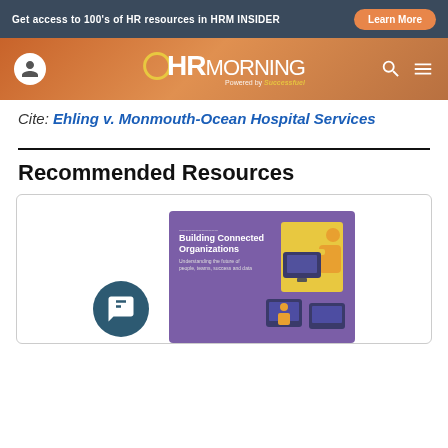Get access to 100's of HR resources in HRM INSIDER | Learn More
[Figure (logo): HR Morning logo with user icon, search and menu icons on navigation bar]
Cite: Ehling v. Monmouth-Ocean Hospital Services
Recommended Resources
[Figure (illustration): Resource card with Building Connected Organizations guide cover and chat icon]